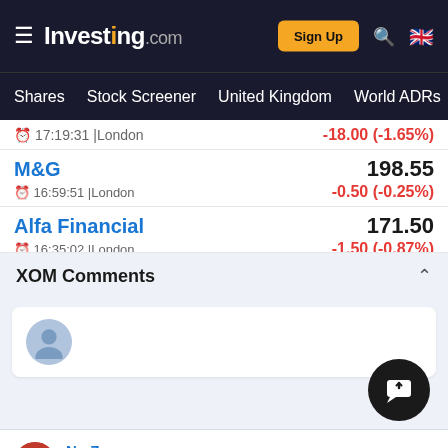Investing.com | Sign Up
Shares | Stock Screener | United Kingdom | World ADRs
17:19:31 | London   -18.00 (-1.65%)
M&G   198.55
16:59:51 | London   -0.50 (-0.25%)
Alfa Financial   171.50
16:35:02 | London   -1.50 (-0.87%)
XOM Comments
[Figure (screenshot): Comment input box with user avatar placeholder icon]
Ng Zen ng
23 Jun 2022, 07:14